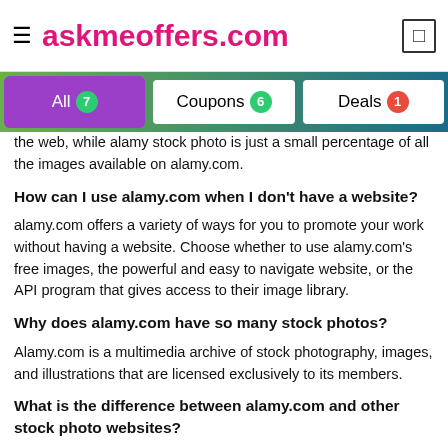≡ askmeoffers.com
[Figure (screenshot): Navigation tab bar with All 7, Coupons 6, Deals 1 tabs]
the web, while alamy stock photo is just a small percentage of all the images available on alamy.com.
How can I use alamy.com when I don't have a website?
alamy.com offers a variety of ways for you to promote your work without having a website. Choose whether to use alamy.com's free images, the powerful and easy to navigate website, or the API program that gives access to their image library.
Why does alamy.com have so many stock photos?
Alamy.com is a multimedia archive of stock photography, images, and illustrations that are licensed exclusively to its members.
What is the difference between alamy.com and other stock photo websites?